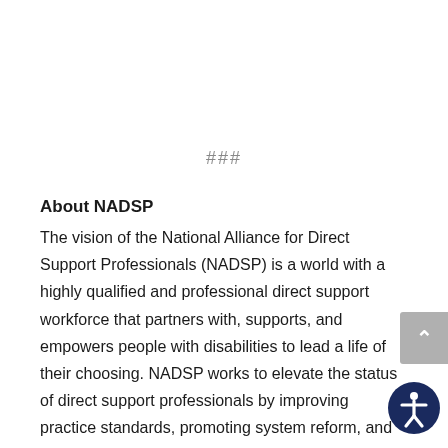###
About NADSP
The vision of the National Alliance for Direct Support Professionals (NADSP) is a world with a highly qualified and professional direct support workforce that partners with, supports, and empowers people with disabilities to lead a life of their choosing. NADSP works to elevate the status of direct support professionals by improving practice standards, promoting system reform, and advancing their knowledge, skills and values, through certification, credentialing, training, professional development, and